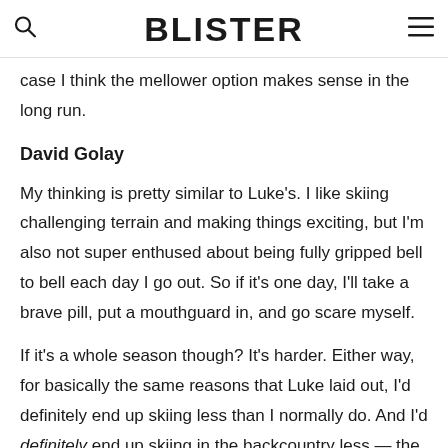BLISTER
case I think the mellower option makes sense in the long run.
David Golay
My thinking is pretty similar to Luke's. I like skiing challenging terrain and making things exciting, but I'm also not super enthused about being fully gripped bell to bell each day I go out. So if it's one day, I'll take a brave pill, put a mouthguard in, and go scare myself.
If it's a whole season though? It's harder. Either way, for basically the same reasons that Luke laid out, I'd definitely end up skiing less than I normally do. And I'd definitely end up skiing in the backcountry less — the "green groomer" option definitively precludes it, and